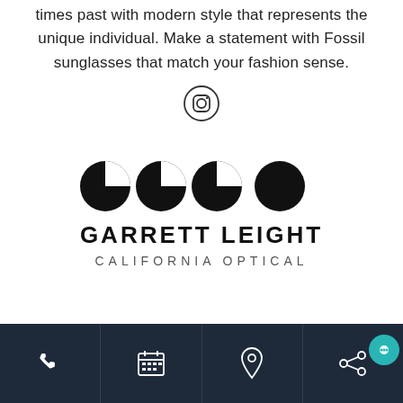times past with modern style that represents the unique individual. Make a statement with Fossil sunglasses that match your fashion sense.
[Figure (logo): Instagram icon - circle with camera outline]
[Figure (logo): Garrett Leight California Optical logo with stylized GLCO lettering above text GARRETT LEIGHT CALIFORNIA OPTICAL]
Phone | Calendar | Location | Share/Chat icons navigation bar